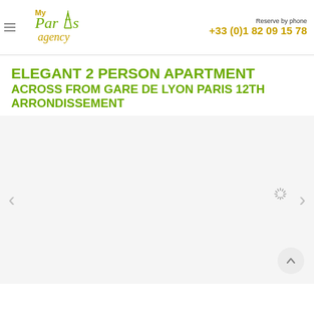[Figure (logo): My Paris Agency logo with stylized Eiffel Tower as letter A]
Reserve by phone
+33 (0)1 82 09 15 78
ELEGANT 2 PERSON APARTMENT ACROSS FROM GARE DE LYON PARIS 12TH ARRONDISSEMENT
[Figure (photo): Apartment photo loading area with spinner and navigation arrows]